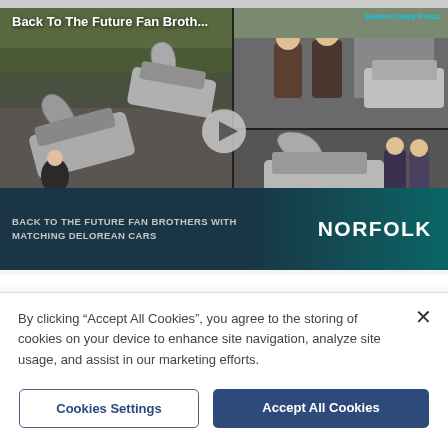[Figure (screenshot): Video thumbnail showing Back To The Future Fan Brothers with matching DeLorean cars in Norfolk. Left panel shows aerial/side view of two DeLorean cars with people, right panel shows two men posing with a DeLorean. Play button in center. Bottom overlay text reads 'BACK TO THE FUTURE FAN BROTHERS WITH MATCHING DELOREAN CARS' and 'NORFOLK'. Source badge reads 'Eastern Daily Press'.]
Watch more local videos
By clicking "Accept All Cookies", you agree to the storing of cookies on your device to enhance site navigation, analyze site usage, and assist in our marketing efforts.